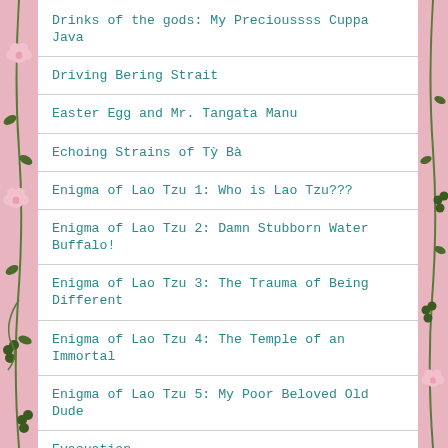Drinks of the gods: My Precioussss Cuppa Java
Driving Bering Strait
Easter Egg and Mr. Tangata Manu
Echoing Strains of Tỳ Bà
Enigma of Lao Tzu 1: Who is Lao Tzu???
Enigma of Lao Tzu 2: Damn Stubborn Water Buffalo!
Enigma of Lao Tzu 3: The Trauma of Being Different
Enigma of Lao Tzu 4: The Temple of an Immortal
Enigma of Lao Tzu 5: My Poor Beloved Old Dude
Evacuation